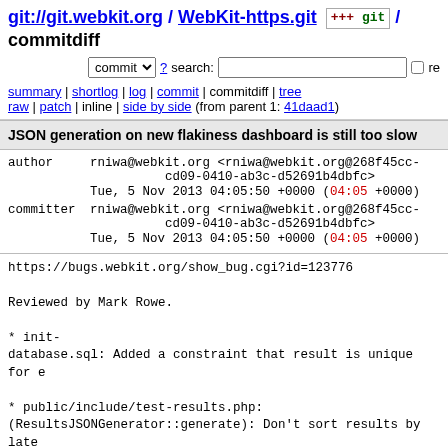git://git.webkit.org / WebKit-https.git / commitdiff
commit ? search: re
summary | shortlog | log | commit | commitdiff | tree
raw | patch | inline | side by side (from parent 1: 41daad1)
JSON generation on new flakiness dashboard is still too slow
author    rniwa@webkit.org <rniwa@webkit.org@268f45cc-cd09-0410-ab3c-d52691b4dbfc>
          Tue, 5 Nov 2013 04:05:50 +0000 (04:05 +0000)
committer rniwa@webkit.org <rniwa@webkit.org@268f45cc-cd09-0410-ab3c-d52691b4dbfc>
          Tue, 5 Nov 2013 04:05:50 +0000 (04:05 +0000)
https://bugs.webkit.org/show_bug.cgi?id=123776

Reviewed by Mark Rowe.

* init-database.sql: Added a constraint that result is unique for e

* public/include/test-results.php:
(ResultsJSONGenerator::generate): Don't sort results by late
in the client side anyway.
(update_flakiness_for_build): Don't update is_flaky flag if